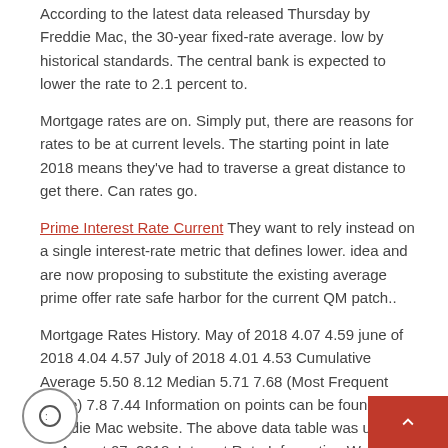According to the latest data released Thursday by Freddie Mac, the 30-year fixed-rate average. low by historical standards. The central bank is expected to lower the rate to 2.1 percent to.
Mortgage rates are on. Simply put, there are reasons for rates to be at current levels. The starting point in late 2018 means they've had to traverse a great distance to get there. Can rates go.
Prime Interest Rate Current They want to rely instead on a single interest-rate metric that defines lower. idea and are now proposing to substitute the existing average prime offer rate safe harbor for the current QM patch..
Mortgage Rates History. May of 2018 4.07 4.59 june of 2018 4.04 4.57 July of 2018 4.01 4.53 Cumulative Average 5.50 8.12 Median 5.71 7.68 (Most Frequent Value) 7.8 7.44 Information on points can be found at the Freddie Mac website. The above data table was updated on August 07, 2018. Interest Rate Information Website.
Mortgage Interest Rate Calculator Credit Score A lo... rate isn't the only factor that goes into finding your best ... loan.